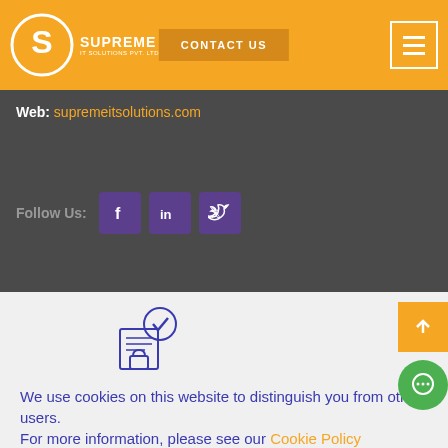[Figure (logo): Supreme IT Solutions Pvt. Ltd. logo with circular S icon on orange header background]
CONTACT US
Web: supremeitsolutions.com
Follow Us:
[Figure (infographic): Privacy/cookie consent icon showing a document with shield and lock]
We use cookies on this website to distinguish you from other users.
For more information, please see our Cookie Policy
Allow cookies